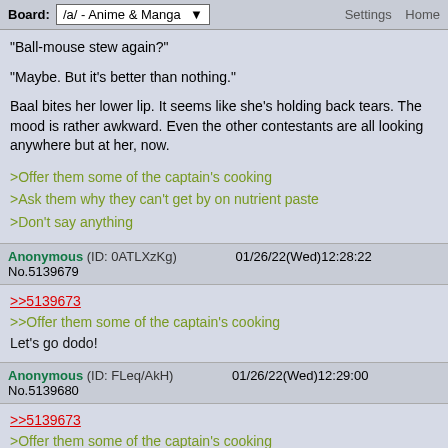Board: /a/ - Anime & Manga   Settings  Home
"Ball-mouse stew again?"

"Maybe. But it's better than nothing."

Baal bites her lower lip. It seems like she's holding back tears. The mood is rather awkward. Even the other contestants are all looking anywhere but at her, now.

>Offer them some of the captain's cooking
>Ask them why they can't get by on nutrient paste
>Don't say anything
Anonymous (ID: 0ATLXzKg)   01/26/22(Wed)12:28:22 No.5139679

>>5139673
>>Offer them some of the captain's cooking
Let's go dodo!
Anonymous (ID: FLeq/AkH)   01/26/22(Wed)12:29:00 No.5139680

>>5139673
>Offer them some of the captain's cooking
>"It is very nutrient dense. You will find it delicious."
Anonymous (ID: uFIdpHOq)   01/26/22(Wed)12:31:32 No.5139683